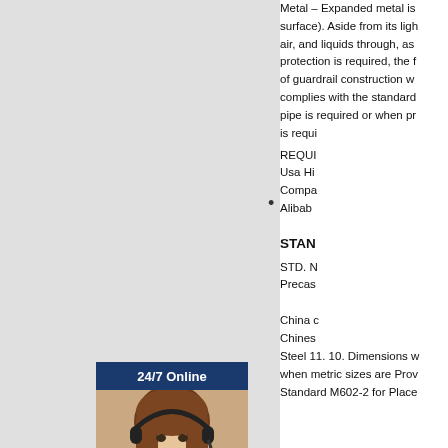[Figure (illustration): Gray left panel / sidebar area]
Metal – Expanded metal is ... (surface). Aside from its light ... air, and liquids through, as ... protection is required, the f... of guardrail construction w... complies with the standard... pipe is required or when pr... is requi... REQUI... Usa Hi... Compa... Alibaba...
STAN...
STD. N... Precas...
China c... Chines... Steel 11. 10. Dimensions w... when metric sizes are Prov... Standard M602-2 for Place...
[Figure (infographic): 24/7 Online customer support widget overlay with photo of woman wearing headset, dark blue header saying '24/7 Online', dark blue footer with italic text 'Have any requests, click here.' and orange button labeled 'Quotation']